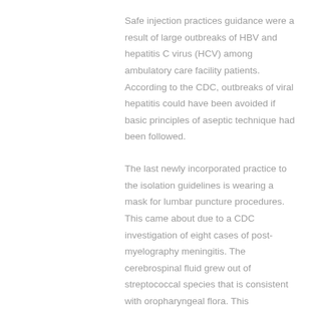Safe injection practices guidance were a result of large outbreaks of HBV and hepatitis C virus (HCV) among ambulatory care facility patients. According to the CDC, outbreaks of viral hepatitis could have been avoided if basic principles of aseptic technique had been followed.
The last newly incorporated practice to the isolation guidelines is wearing a mask for lumbar puncture procedures. This came about due to a CDC investigation of eight cases of post-myelography meningitis. The cerebrospinal fluid grew out of streptococcal species that is consistent with oropharyngeal flora. This investigation, as well as others, led to the